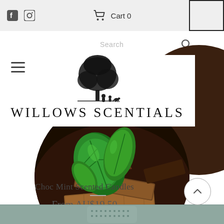Cart 0
Search
[Figure (screenshot): Willows Scentials logo with a tree silhouette and two figures beneath it, above the text WILLOWS SCENTIALS]
[Figure (photo): Circular cropped photo of stacked chocolate pieces with fresh mint leaves on top, on a dark background with cocoa powder]
Choc Mint Scented Candles
From AU$19.50